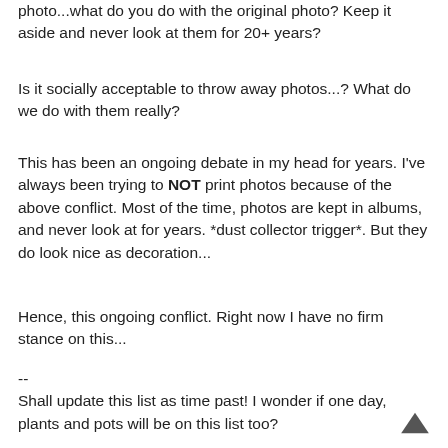photo...what do you do with the original photo? Keep it aside and never look at them for 20+ years?
Is it socially acceptable to throw away photos...? What do we do with them really?
This has been an ongoing debate in my head for years. I've always been trying to NOT print photos because of the above conflict. Most of the time, photos are kept in albums, and never look at for years. *dust collector trigger*. But they do look nice as decoration...
Hence, this ongoing conflict. Right now I have no firm stance on this...
--
Shall update this list as time past! I wonder if one day, plants and pots will be on this list too?